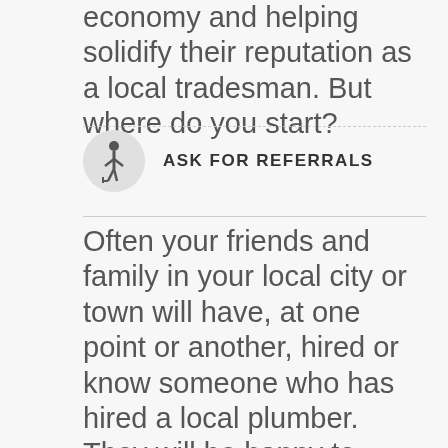economy and helping solidify their reputation as a local tradesman. But where do you start?
ASK FOR REFERRALS
Often your friends and family in your local city or town will have, at one point or another, hired or know someone who has hired a local plumber. They will be happy to share their opinions with you about various local plumbers, the